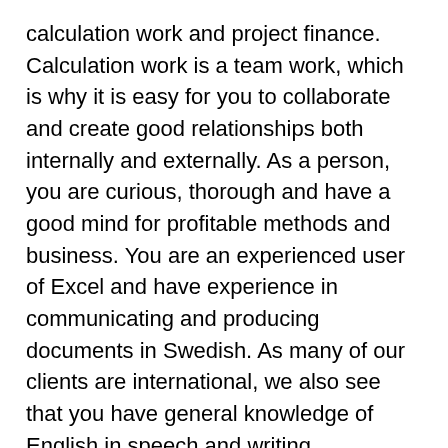calculation work and project finance. Calculation work is a team work, which is why it is easy for you to collaborate and create good relationships both internally and externally. As a person, you are curious, thorough and have a good mind for profitable methods and business. You are an experienced user of Excel and have experience in communicating and producing documents in Swedish. As many of our clients are international, we also see that you have general knowledge of English in speech and writing.
Questions about the job?
Do you have questions about the service? Contact project manager Johan Wiman on 0920-21 92 45 or johan.wiman@gisab.net.
Placement may be at our offices in Luleå, Gällivare or Kiruna. We are open to a flexible work situation where